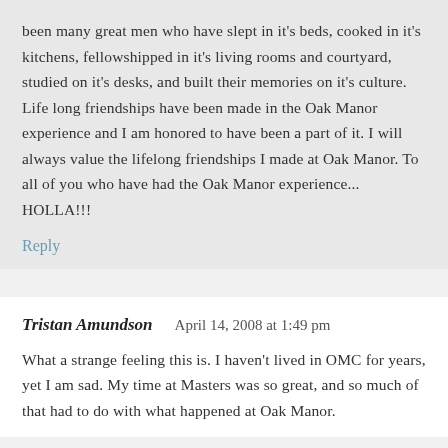been many great men who have slept in it's beds, cooked in it's kitchens, fellowshipped in it's living rooms and courtyard, studied on it's desks, and built their memories on it's culture. Life long friendships have been made in the Oak Manor experience and I am honored to have been a part of it. I will always value the lifelong friendships I made at Oak Manor. To all of you who have had the Oak Manor experience... HOLLA!!!
Reply
Tristan Amundson   April 14, 2008 at 1:49 pm
What a strange feeling this is. I haven't lived in OMC for years, yet I am sad. My time at Masters was so great, and so much of that had to do with what happened at Oak Manor.